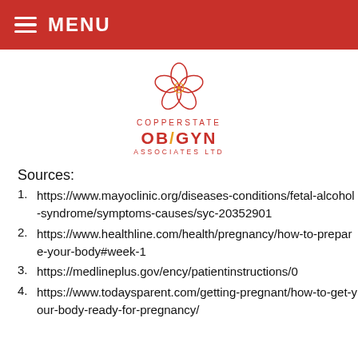MENU
[Figure (logo): Copperstate OB/GYN Associates Ltd logo with flower graphic]
Sources:
https://www.mayoclinic.org/diseases-conditions/fetal-alcohol-syndrome/symptoms-causes/syc-20352901
https://www.healthline.com/health/pregnancy/how-to-prepare-your-body#week-1
https://medlineplus.gov/ency/patientinstructions/0...
https://www.todaysparent.com/getting-pregnant/how-to-get-your-body-ready-for-pregnancy/